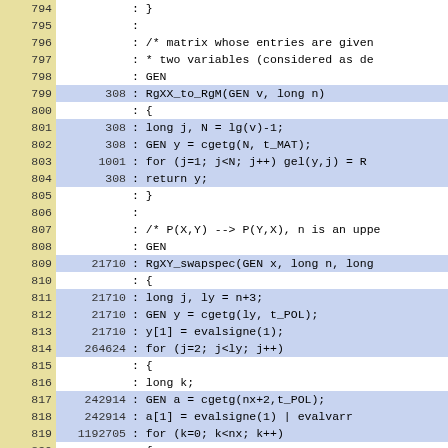[Figure (screenshot): Source code listing with line numbers (yellow background), execution counts, and code content (blue highlighted rows for non-zero counts). Lines 794-823 shown, containing C code for RgXX_to_RgM and RgXY_swapspec functions.]